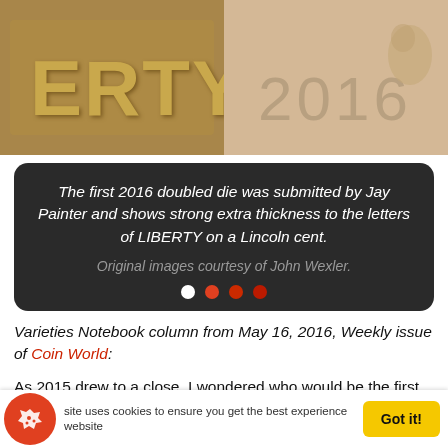[Figure (photo): Close-up photo of a coin showing 'LIBERTY' letters on the left and '2016' date on the right, both showing doubled die extra thickness effect.]
The first 2016 doubled die was submitted by Jay Painter and shows strong extra thickness to the letters of LIBERTY on a Lincoln cent. Original images courtesy of John Wexler.
Varieties Notebook column from May 16, 2016, Weekly issue of Coin World:
As 2015 drew to a close, I wondered who would be the first to submit a year 2016-dated doubled die.
The winner is Jay Painter. His find is a 2016 Lincoln cent with a doubled die obverse. Strong extra thickness shows...
This site uses cookies to ensure you get the best experience on our website